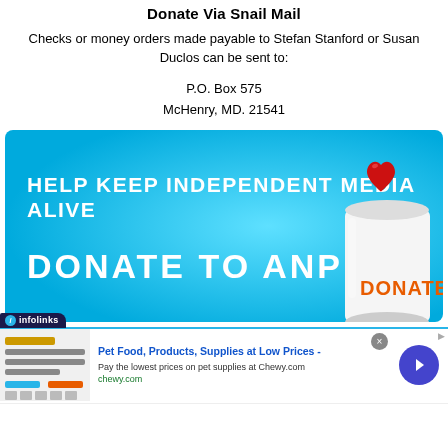Donate Via Snail Mail
Checks or money orders made payable to Stefan Stanford or Susan Duclos can be sent to:
P.O. Box 575
McHenry, MD. 21541
[Figure (infographic): Blue banner ad reading 'HELP KEEP INDEPENDENT MEDIA ALIVE' and 'DONATE TO ANP' with a white tin can labeled DONATE with a red heart on top.]
[Figure (infographic): Infolinks advertisement for Chewy.com: Pet Food, Products, Supplies at Low Prices. Pay the lowest prices on pet supplies at Chewy.com, chewy.com.]